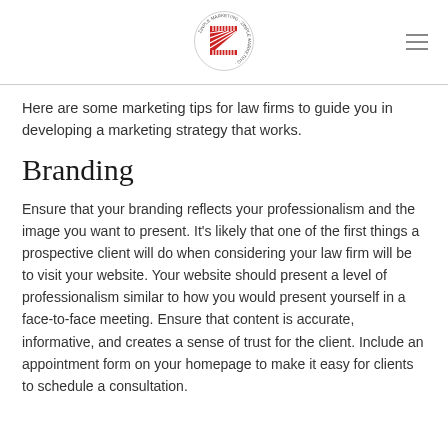[Figure (logo): Zinple Marketing logo — red striped Z letter inside a circle with text around the border]
Here are some marketing tips for law firms to guide you in developing a marketing strategy that works.
Branding
Ensure that your branding reflects your professionalism and the image you want to present. It's likely that one of the first things a prospective client will do when considering your law firm will be to visit your website. Your website should present a level of professionalism similar to how you would present yourself in a face-to-face meeting. Ensure that content is accurate, informative, and creates a sense of trust for the client. Include an appointment form on your homepage to make it easy for clients to schedule a consultation.